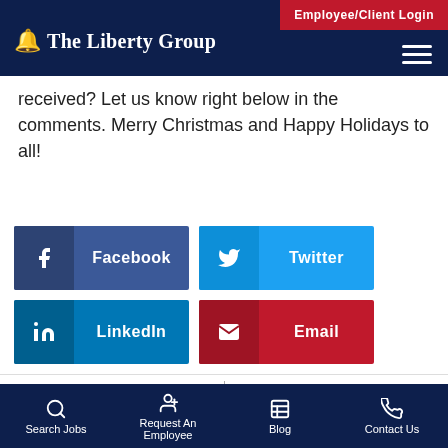Employee/Client Login | The Liberty Group
received? Let us know right below in the comments. Merry Christmas and Happy Holidays to all!
[Figure (screenshot): Social share buttons: Facebook, Twitter, LinkedIn, Email]
PREVIOUS
NEXT
Search Jobs | Request An Employee | Blog | Contact Us